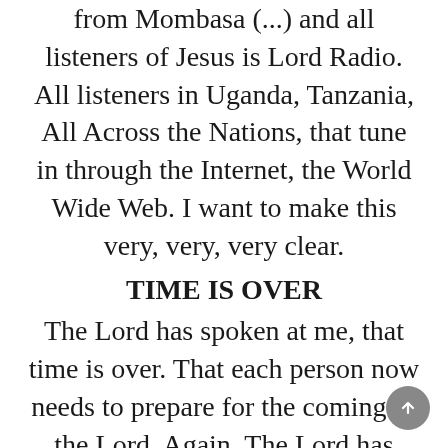from Mombasa (...) and all listeners of Jesus is Lord Radio.  All listeners in Uganda, Tanzania, All Across the Nations, that tune in through the Internet, the World Wide Web.  I want to make this very, very, very clear.
TIME IS OVER
The Lord has spoken at me, that time is over.  That each person now needs to prepare for the coming of the Lord.  Again.  The Lord has spoken at me.  TIME IS OVER.  That any moment the church might be